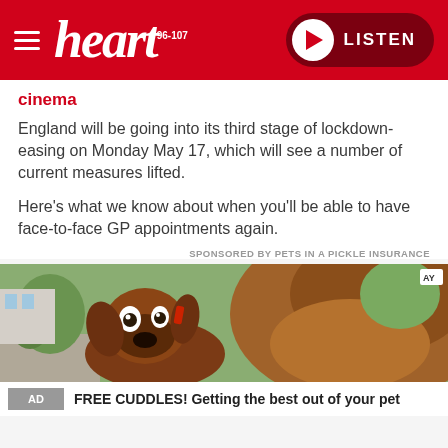heart 96-107 | LISTEN
cinema
England will be going into its third stage of lockdown-easing on Monday May 17, which will see a number of current measures lifted.
Here's what we know about when you'll be able to have face-to-face GP appointments again.
SPONSORED BY PETS IN A PICKLE INSURANCE
[Figure (photo): A brown dog with wide eyes and a horse's furry ear close up in the foreground, outdoors background]
FREE CUDDLES! Getting the best out of your pet
AD